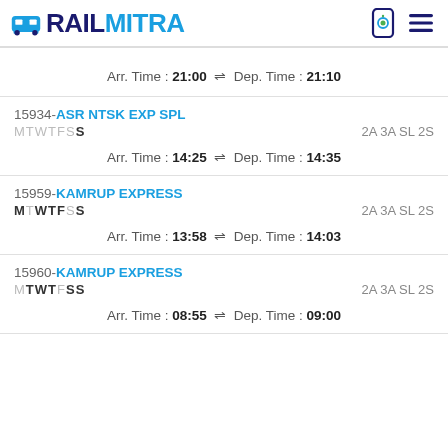RAILMITRA
Arr. Time : 21:00 ⇌ Dep. Time : 21:10
15934-ASR NTSK EXP SPL
MTWTFSS	2A 3A SL 2S
Arr. Time : 14:25 ⇌ Dep. Time : 14:35
15959-KAMRUP EXPRESS
MTWTFSS	2A 3A SL 2S
Arr. Time : 13:58 ⇌ Dep. Time : 14:03
15960-KAMRUP EXPRESS
MTWTFSS	2A 3A SL 2S
Arr. Time : 08:55 ⇌ Dep. Time : 09:00